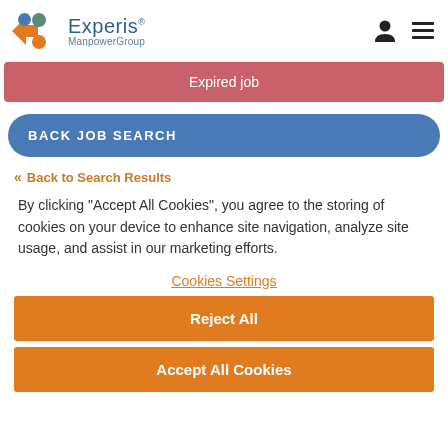[Figure (logo): Experis ManpowerGroup logo with stylized X icon in orange and teal/blue, followed by navigation icons (user profile and hamburger menu)]
Expired job
BACK JOB SEARCH
« Back to Search Results
By clicking "Accept All Cookies", you agree to the storing of cookies on your device to enhance site navigation, analyze site usage, and assist in our marketing efforts.
Cookies Settings
Reject All
Accept All Cookies